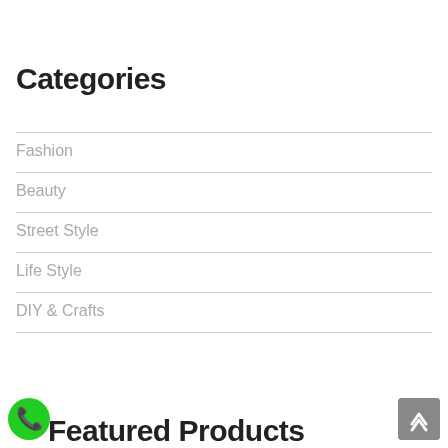Categories
Fashion
Beauty
Street Style
Life Style
DIY & Crafts
Featured Products